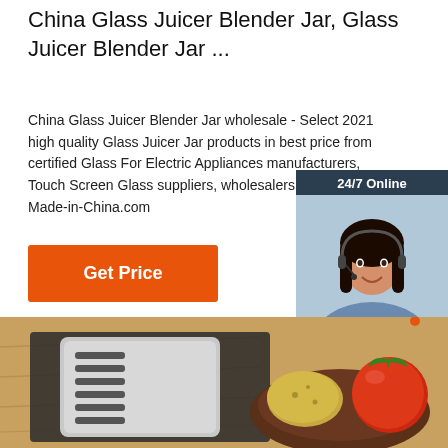China Glass Juicer Blender Jar, Glass Juicer Blender Jar ...
China Glass Juicer Blender Jar wholesale - Select 2021 high quality Glass Juicer Jar products in best price from certified Glass For Electric Appliances manufacturers, Touch Screen Glass suppliers, wholesalers and factory on Made-in-China.com
[Figure (infographic): 24/7 Online chat widget with a woman wearing a headset, dark navy background, orange QUOTATION button, italic text 'Click here for free chat!']
[Figure (photo): Kitchen scene showing a grater/slicer tool on wooden surface on the left, and a wooden bowl with potatoes and a red tomato on the right]